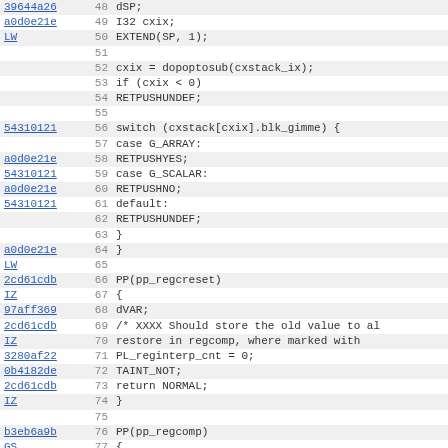[Figure (screenshot): Source code viewer showing Perl/C code with line numbers 48-79, hash references in left column, line numbers in center, and code in right column. Alternating row background colors (light gray and white). Links shown in blue underlined text.]